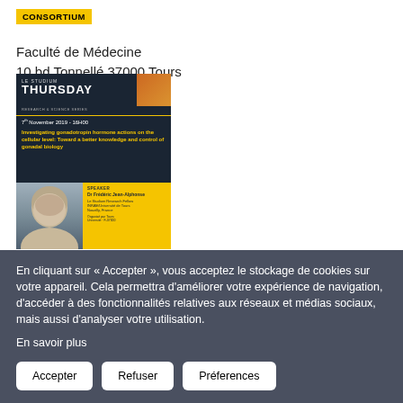CONSORTIUM
Faculté de Médecine
10 bd Tonnellé 37000 Tours
[Figure (illustration): Le Studium Thursday event poster for 7th November 2019 - 16H00. Title: Investigating gonadotropin hormone actions on the cellular level: Toward a better knowledge and control of gonadal biology. Speaker: Dr. Frédéric Jean-Alphonse. Dark background with yellow and orange accents, photo of speaker.]
En cliquant sur « Accepter », vous acceptez le stockage de cookies sur votre appareil. Cela permettra d'améliorer votre expérience de navigation, d'accéder à des fonctionnalités relatives aux réseaux et médias sociaux, mais aussi d'analyser votre utilisation.
En savoir plus
Accepter
Refuser
Préferences